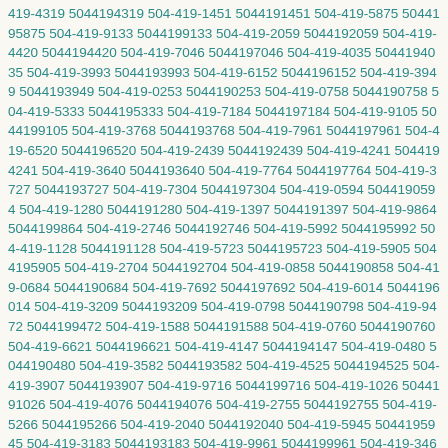419-4319 5044194319 504-419-1451 5044191451 504-419-5875 5044195875 504-419-9133 5044199133 504-419-2059 5044192059 504-419-4420 5044194420 504-419-7046 5044197046 504-419-4035 5044194035 504-419-3993 5044193993 504-419-6152 5044196152 504-419-3949 5044193949 504-419-0253 5044190253 504-419-0758 5044190758 504-419-5333 5044195333 504-419-7184 5044197184 504-419-9105 5044199105 504-419-3768 5044193768 504-419-7961 5044197961 504-419-6520 5044196520 504-419-2439 5044192439 504-419-4241 5044194241 504-419-3640 5044193640 504-419-7764 5044197764 504-419-3727 5044193727 504-419-7304 5044197304 504-419-0594 5044190594 504-419-1280 5044191280 504-419-1397 5044191397 504-419-9864 5044199864 504-419-2746 5044192746 504-419-5992 5044195992 504-419-1128 5044191128 504-419-5723 5044195723 504-419-5905 5044195905 504-419-2704 5044192704 504-419-0858 5044190858 504-419-0684 5044190684 504-419-7692 5044197692 504-419-6014 5044196014 504-419-3209 5044193209 504-419-0798 5044190798 504-419-9472 5044199472 504-419-1588 5044191588 504-419-0760 5044190760 504-419-6621 5044196621 504-419-4147 5044194147 504-419-0480 5044190480 504-419-3582 5044193582 504-419-4525 5044194525 504-419-3907 5044193907 504-419-9716 5044199716 504-419-1026 5044191026 504-419-4076 5044194076 504-419-2755 5044192755 504-419-5266 5044195266 504-419-2040 5044192040 504-419-5945 5044195945 504-419-3183 5044193183 504-419-9961 5044199961 504-419-3461 5044193461 504-419-7277 5044197277 504-419-3395 5044193395 504-419-6928 5044196928 504-419-4514 5044194514 504-419-0146 5044190146 504-419-4414 5044194414 504-419-5991 5044195991 504-419-2984